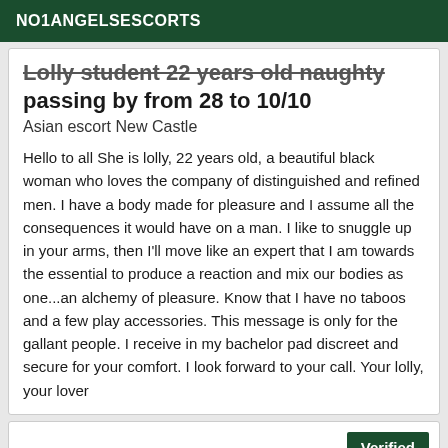NO1ANGELSESCORTS
Lolly student 22 years old naughty passing by from 28 to 10/10
Asian escort New Castle
Hello to all She is lolly, 22 years old, a beautiful black woman who loves the company of distinguished and refined men. I have a body made for pleasure and I assume all the consequences it would have on a man. I like to snuggle up in your arms, then I'll move like an expert that I am towards the essential to produce a reaction and mix our bodies as one...an alchemy of pleasure. Know that I have no taboos and a few play accessories. This message is only for the gallant people. I receive in my bachelor pad discreet and secure for your comfort. I look forward to your call. Your lolly, your lover
Verified